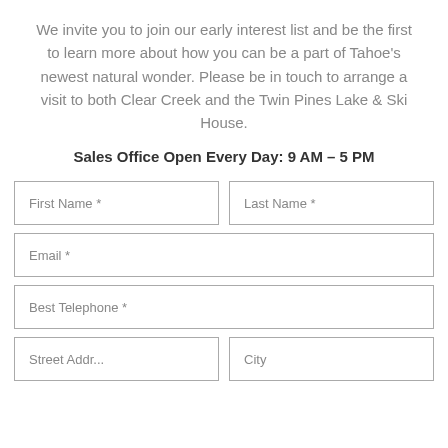We invite you to join our early interest list and be the first to learn more about how you can be a part of Tahoe's newest natural wonder. Please be in touch to arrange a visit to both Clear Creek and the Twin Pines Lake & Ski House.
Sales Office Open Every Day: 9 AM – 5 PM
First Name *
Last Name *
Email *
Best Telephone *
Street Address
City